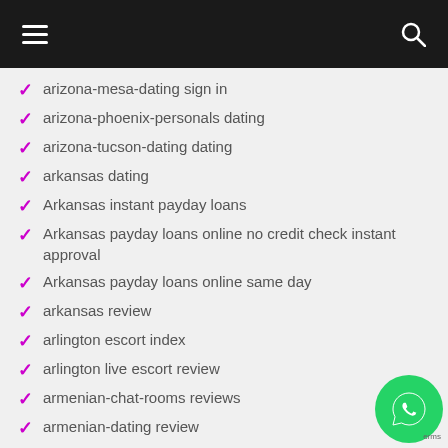arizona-mesa-dating sign in
arizona-phoenix-personals dating
arizona-tucson-dating dating
arkansas dating
Arkansas instant payday loans
Arkansas payday loans online no credit check instant approval
Arkansas payday loans online same day
arkansas review
arlington escort index
arlington live escort review
armenian-chat-rooms reviews
armenian-dating review
Artist Dating reddit